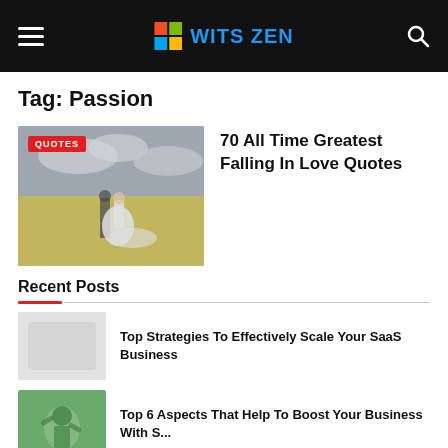WITS ZEN
Tag: Passion
[Figure (photo): Couple in a sunflower field with cloudy sky, with a QUOTES badge overlay]
70 All Time Greatest Falling In Love Quotes
Recent Posts
[Figure (photo): Light gray placeholder thumbnail]
Top Strategies To Effectively Scale Your SaaS Business
[Figure (photo): Green thumbnail with person]
Top 6 Aspects That Help To Boost Your Business With S...